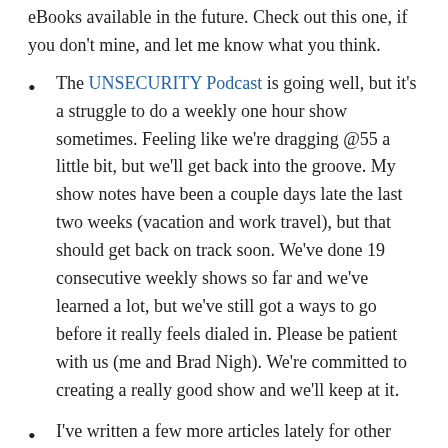eBooks available in the future. Check out this one, if you don't mine, and let me know what you think.
The UNSECURITY Podcast is going well, but it's a struggle to do a weekly one hour show sometimes. Feeling like we're dragging @55 a little bit, but we'll get back into the groove. My show notes have been a couple days late the last two weeks (vacation and work travel), but that should get back on track soon. We've done 19 consecutive weekly shows so far and we've learned a lot, but we've still got a ways to go before it really feels dialed in. Please be patient with us (me and Brad Nigh). We're committed to creating a really good show and we'll keep at it.
I've written a few more articles lately for other publications. Some are better than others:
Simplify Your Information Security And Privacy Frameworks, written for Forbes